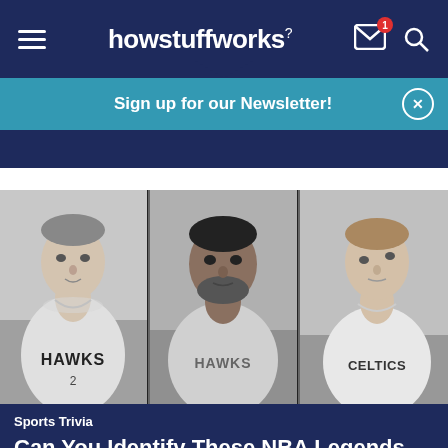howstuffworks
Sign up for our Newsletter!
[Figure (photo): Three black-and-white photos of NBA players in Hawks and Celtics jerseys]
Sports Trivia
Can You Identify These NBA Legends With